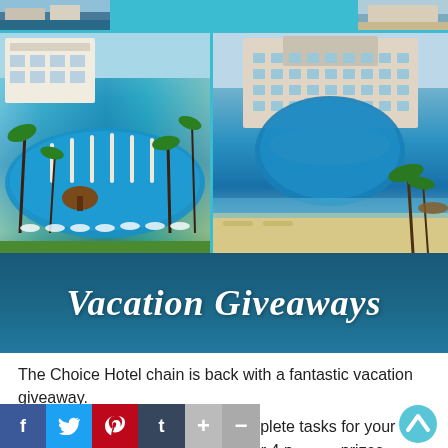[Figure (photo): Top strip with partial vacation/resort photos on teal background]
[Figure (photo): Two side-by-side resort photos: left showing aerial view of pool with palms and thatched hut, right showing hotel building with infinity pool and beach]
Vacation Giveaways
The Choice Hotel chain is back with a fantastic vacation giveaway.
You may enter every day and complete tasks for your chance to win a dream vacation for 4 people, prizes, details below